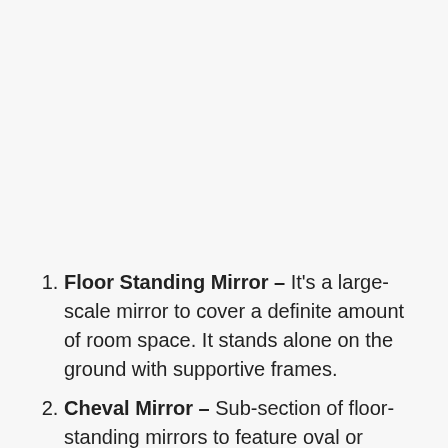Floor Standing Mirror – It's a large-scale mirror to cover a definite amount of room space. It stands alone on the ground with supportive frames.
Cheval Mirror – Sub-section of floor-standing mirrors to feature oval or rectangular shape. Wooden leg